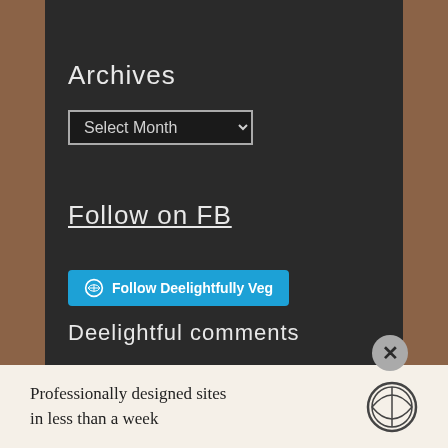Archives
Select Month
Follow on FB
Follow Deelightfully Veg
Deelightful comments
Food Kalaakar - It's… on Snake Gourd Mallung (Sri Lanka…
[Figure (screenshot): WordPress advertisement bar at bottom: 'Professionally designed sites in less than a week' with WordPress logo]
Professionally designed sites in less than a week